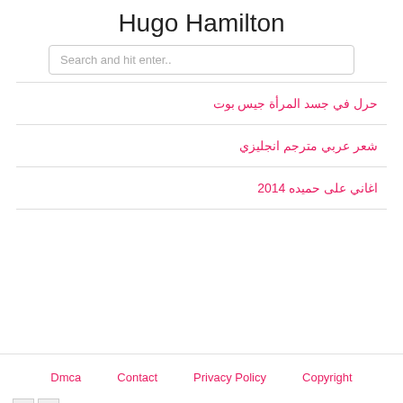Hugo Hamilton
Search and hit enter..
حرل في جسد المرأة جيس بوت
شعر عربي مترجم انجليزي
اغاني على حميده 2014
Dmca   Contact   Privacy Policy   Copyright